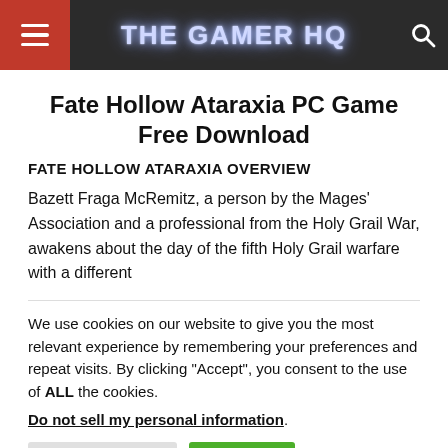THE GAMER HQ
Fate Hollow Ataraxia PC Game Free Download
FATE HOLLOW ATARAXIA OVERVIEW
Bazett Fraga McRemitz, a person by the Mages' Association and a professional from the Holy Grail War, awakens about the day of the fifth Holy Grail warfare with a different
We use cookies on our website to give you the most relevant experience by remembering your preferences and repeat visits. By clicking “Accept”, you consent to the use of ALL the cookies.
Do not sell my personal information.